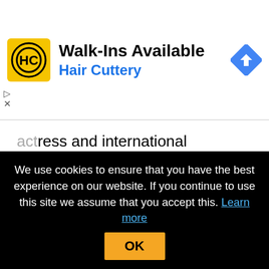[Figure (other): Advertisement banner for Hair Cuttery with yellow HC logo, text 'Walk-Ins Available' and 'Hair Cuttery' in blue, and a blue navigation/directions diamond icon on the right]
actress and international superstar Sofia Vergara. The dynamic Terry Crews returns as host.
This season promises to deliver some of the wildest acts to ever grace the “AGT” stage.
We use cookies to ensure that you have the best experience on our website. If you continue to use this site we assume that you accept this. Learn more  OK